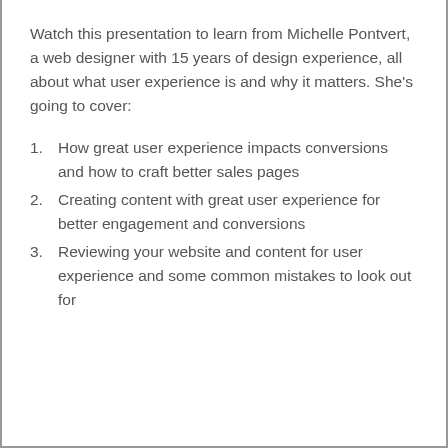Watch this presentation to learn from Michelle Pontvert, a web designer with 15 years of design experience, all about what user experience is and why it matters. She's going to cover:
1. How great user experience impacts conversions and how to craft better sales pages
2. Creating content with great user experience for better engagement and conversions
3. Reviewing your website and content for user experience and some common mistakes to look out for